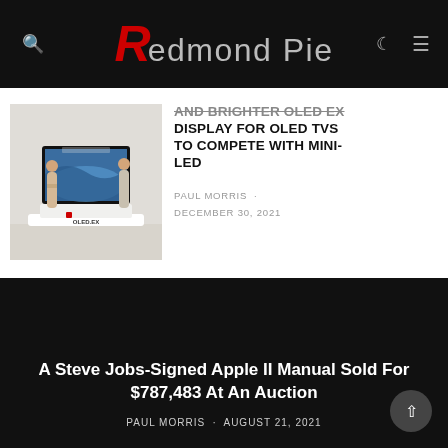Redmond Pie
[Figure (photo): LG OLED EX display technology promotional photo with two people standing next to a large display showing an ocean wave, with 'EX Technology' text and 'OLED.EX' branding on a white display stand]
AND BRIGHTER OLED EX DISPLAY FOR OLED TVS TO COMPETE WITH MINI-LED
PAUL MORRIS · DECEMBER 30, 2021
[Figure (photo): Dark/black background article card for Steve Jobs article]
A Steve Jobs-Signed Apple II Manual Sold For $787,483 At An Auction
PAUL MORRIS · AUGUST 21, 2021